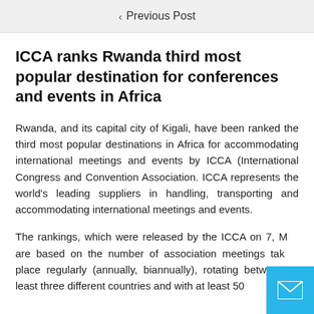< Previous Post
ICCA ranks Rwanda third most popular destination for conferences and events in Africa
Rwanda, and its capital city of Kigali, have been ranked the third most popular destinations in Africa for accommodating international meetings and events by ICCA (International Congress and Convention Association. ICCA represents the world’s leading suppliers in handling, transporting and accommodating international meetings and events.
The rankings, which were released by the ICCA on 7, M... are based on the number of association meetings tak... place regularly (annually, biannually), rotating between at least three different countries and with at least 50